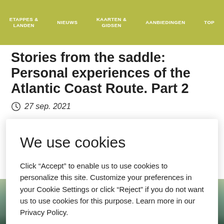ETAPPES & LANDEN | NIEUWS | KAARTEN & GIDSEN | AANBIEDINGEN | TOP
Stories from the saddle: Personal experiences of the Atlantic Coast Route. Part 2
27 sep. 2021
We use cookies
Click “Accept” to enable us to use cookies to personalize this site. Customize your preferences in your Cookie Settings or click “Reject” if you do not want us to use cookies for this purpose. Learn more in our Privacy Policy.
Cookies settings
Reject
Accept All